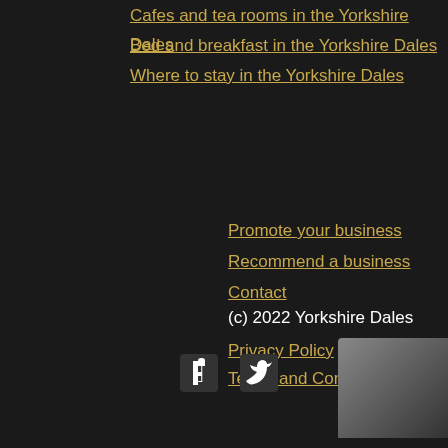Cafes and tea rooms in the Yorkshire Dales
Bed and breakfast in the Yorkshire Dales
Where to stay in the Yorkshire Dales
Promote your business
Recommend a business
Contact
(c) 2022 Yorkshire Dales
Privacy Policy
Terms and Conditions
[Figure (illustration): Facebook and Twitter social media icons in white on dark background]
[Figure (photo): Partial image visible in bottom-right corner, brown/grey tones]